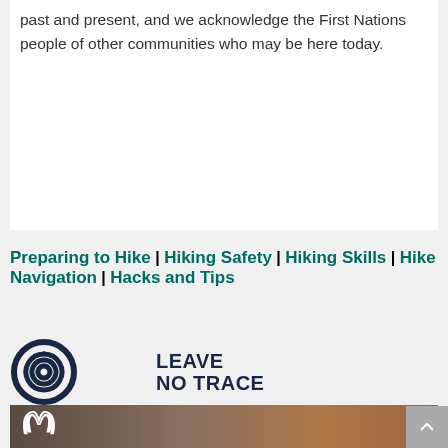past and present, and we acknowledge the First Nations people of other communities who may be here today.
Preparing to Hike | Hiking Safety | Hiking Skills | Hike Navigation | Hacks and Tips
[Figure (logo): Leave No Trace logo with spiral icon and bold dark navy text]
[Figure (photo): Under Armour advertisement showing two athletes, a woman in teal and a man in orange, running outdoors with Under Armour logo visible]